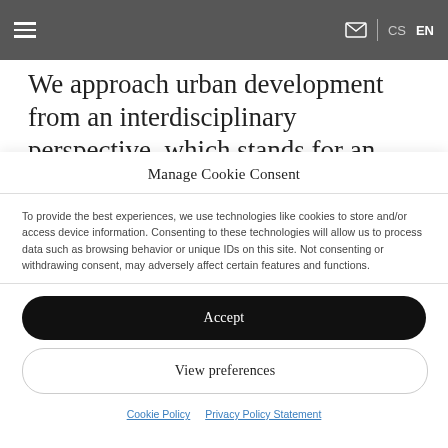≡  ✉ | CS EN
We approach urban development from an interdisciplinary perspective, which stands for an intersection of geography, architecture and urbanism, geobotanics, social and cultural anthropology, history, archaeology or economy. Methods used by each of these disciplines stay true to their essence. Consequently they are connected with each other
Manage Cookie Consent
To provide the best experiences, we use technologies like cookies to store and/or access device information. Consenting to these technologies will allow us to process data such as browsing behavior or unique IDs on this site. Not consenting or withdrawing consent, may adversely affect certain features and functions.
Accept
View preferences
Cookie Policy  Privacy Policy Statement